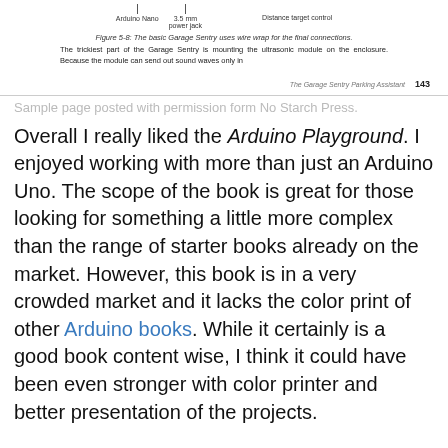[Figure (photo): Top fragment of a book page showing Arduino Nano, 3.5mm power jack, and Distance target control components with labels]
Figure 5-8: The basic Garage Sentry uses wire wrap for the final connections.
The trickiest part of the Garage Sentry is mounting the ultrasonic module on the enclosure. Because the module can send out sound waves only in
The Garage Sentry Parking Assistant   143
Sample page posted with permission form No Starch Press.
Overall I really liked the Arduino Playground. I enjoyed working with more than just an Arduino Uno. The scope of the book is great for those looking for something a little more complex than the range of starter books already on the market. However, this book is in a very crowded market and it lacks the color print of other Arduino books. While it certainly is a good book content wise, I think it could have been even stronger with color printer and better presentation of the projects.